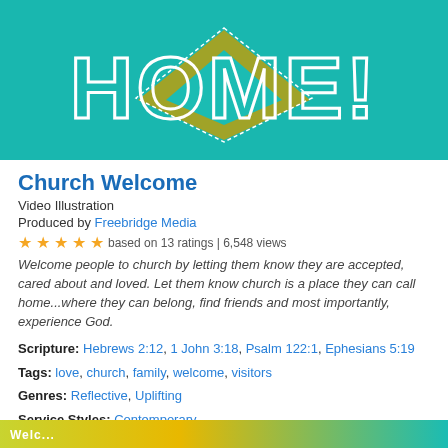[Figure (illustration): Teal banner with large outlined text 'HOME!' and a gold/teal diamond geometric shape behind the text]
Church Welcome
Video Illustration
Produced by Freebridge Media
★★★★★ based on 13 ratings | 6,548 views
Welcome people to church by letting them know they are accepted, cared about and loved. Let them know church is a place they can call home...where they can belong, find friends and most importantly, experience God.
Scripture: Hebrews 2:12, 1 John 3:18, Psalm 122:1, Ephesians 5:19
Tags: love, church, family, welcome, visitors
Genres: Reflective, Uplifting
Service Styles: Contemporary
[Figure (illustration): Partial banner at bottom showing a colorful scene with yellow-green and teal colors, partially cut off]